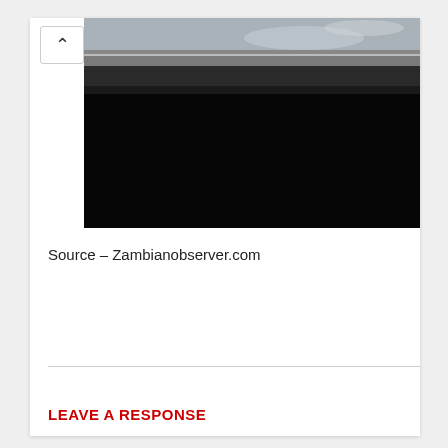[Figure (photo): Photograph of a vehicle roof/window area showing a car's roofline with tinted window trim at the top and a large black area in the lower portion of the image.]
Source – Zambianobserver.com
LEAVE A RESPONSE